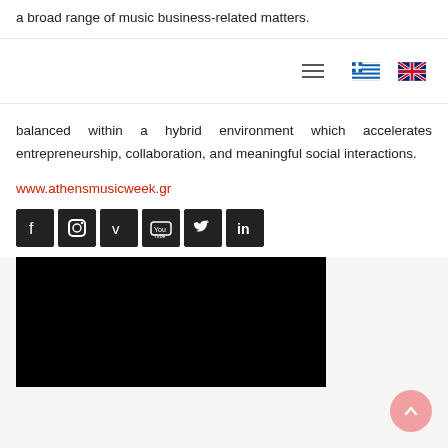a broad range of music business-related matters.
[Figure (other): Navigation bar with hamburger menu icon and Greek and UK flag icons]
balanced within a hybrid environment which accelerates entrepreneurship, collaboration, and meaningful social interactions.
www.athensmusicweek.gr
[Figure (other): Row of 6 social media icons: Facebook, Instagram, Vimeo, YouTube, Twitter, LinkedIn]
[Figure (other): Black video embed area]